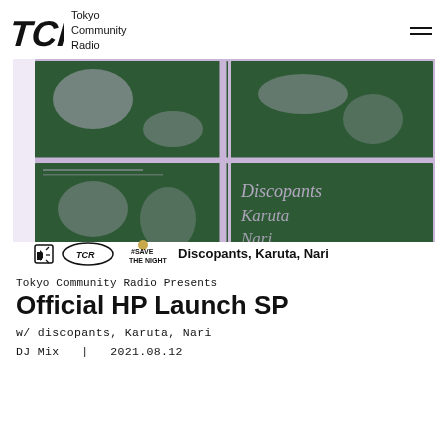Tokyo Community Radio
[Figure (illustration): Event poster for Tokyo Community Radio featuring a halftone green-on-lavender 4-panel image with figures/cups. Bottom bar shows TCR logo, #SAVE THE NIGHT, and text 'Discopants, Karuta, Nari'. Vertical text on left reads 'TOKYO COMMUNITY RADIO'. Artists listed in bottom-right panels: Discopants, Karuta, Nari.]
Tokyo Community Radio Presents
Official HP Launch SP
w/ discopants, Karuta, Nari
DJ Mix  |  2021.08.12